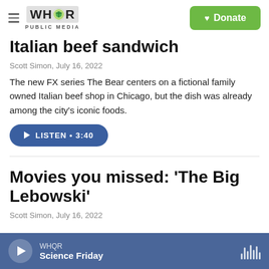WHQR PUBLIC MEDIA | Donate
Italian beef sandwich
Scott Simon, July 16, 2022
The new FX series The Bear centers on a fictional family owned Italian beef shop in Chicago, but the dish was already among the city's iconic foods.
LISTEN • 3:40
Movies you missed: 'The Big Lebowski'
Scott Simon, July 16, 2022
WHQR Science Friday